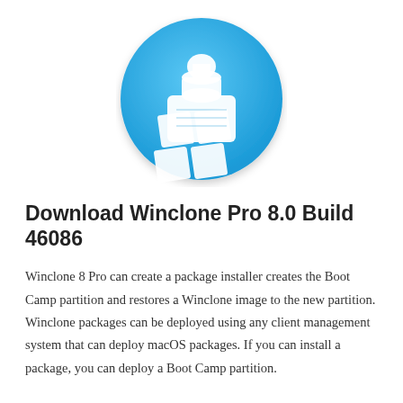[Figure (logo): Winclone app icon: a blue circle with a white stamp/package icon overlaid on a white Windows-logo-style grid of squares]
Download Winclone Pro 8.0 Build 46086
Winclone 8 Pro can create a package installer creates the Boot Camp partition and restores a Winclone image to the new partition. Winclone packages can be deployed using any client management system that can deploy macOS packages. If you can install a package, you can deploy a Boot Camp partition.